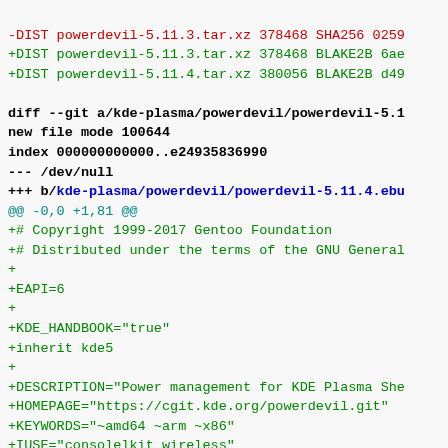-DIST powerdevil-5.11.3.tar.xz 378468 SHA256 0259
+DIST powerdevil-5.11.3.tar.xz 378468 BLAKE2B 6ae
+DIST powerdevil-5.11.4.tar.xz 380056 BLAKE2B d49
diff --git a/kde-plasma/powerdevil/powerdevil-5.1
new file mode 100644
index 000000000000..e24935836990
--- /dev/null
+++ b/kde-plasma/powerdevil/powerdevil-5.11.4.ebu
@@ -0,0 +1,81 @@
+# Copyright 1999-2017 Gentoo Foundation
+# Distributed under the terms of the GNU General
+
+EAPI=6
+
+KDE_HANDBOOK="true"
+inherit kde5
+
+DESCRIPTION="Power management for KDE Plasma She
+HOMEPAGE="https://cgit.kde.org/powerdevil.git"
+KEYWORDS="~amd64 ~arm ~x86"
+IUSE="consolelkit wireless"